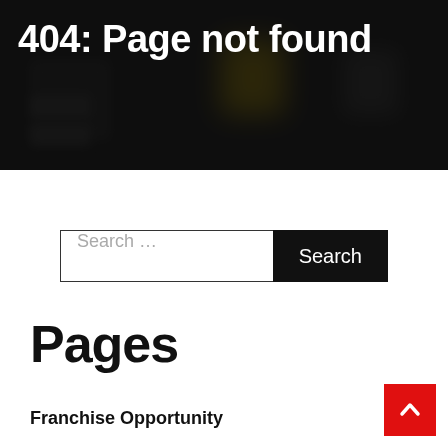[Figure (screenshot): Dark blurred background hero image showing a dimly lit interface or shop environment with yellow and dark elements]
404: Page not found
Search ...
Pages
Franchise Opportunity